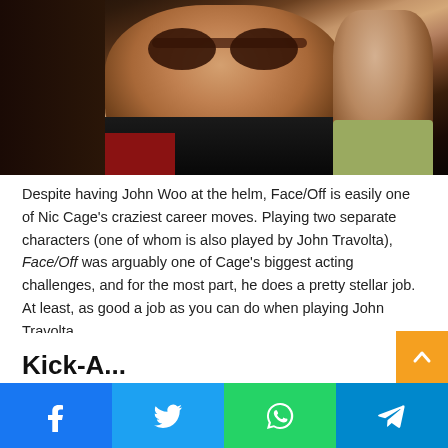[Figure (photo): Close-up photo of a man wearing round tinted sunglasses, smiling slightly, wearing a dark jacket with a reddish shirt visible. Another person partially visible on the right side.]
Despite having John Woo at the helm, Face/Off is easily one of Nic Cage's craziest career moves. Playing two separate characters (one of whom is also played by John Travolta), Face/Off was arguably one of Cage's biggest acting challenges, and for the most part, he does a pretty stellar job. At least, as good a job as you can do when playing John Travolta.
Facebook  Twitter  WhatsApp  Telegram